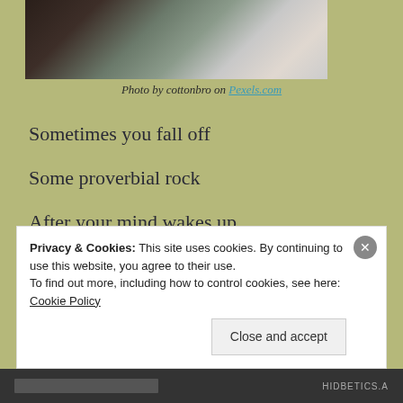[Figure (photo): Partial photo of a person in formal wear near a window, cropped at top]
Photo by cottonbro on Pexels.com
Sometimes you fall off
Some proverbial rock
After your mind wakes up
To a world much too different
Privacy & Cookies: This site uses cookies. By continuing to use this website, you agree to their use.
To find out more, including how to control cookies, see here: Cookie Policy
Close and accept